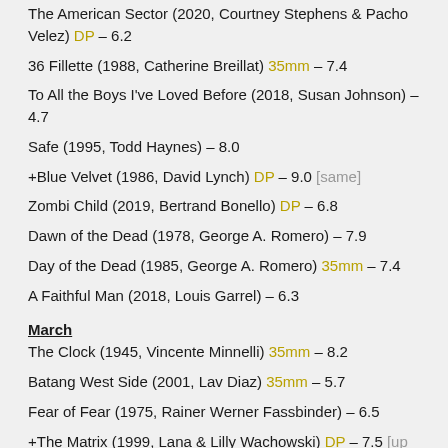The American Sector (2020, Courtney Stephens & Pacho Velez) DP – 6.2
36 Fillette (1988, Catherine Breillat) 35mm – 7.4
To All the Boys I've Loved Before (2018, Susan Johnson) – 4.7
Safe (1995, Todd Haynes) – 8.0
+Blue Velvet (1986, David Lynch) DP – 9.0 [same]
Zombi Child (2019, Bertrand Bonello) DP – 6.8
Dawn of the Dead (1978, George A. Romero) – 7.9
Day of the Dead (1985, George A. Romero) 35mm – 7.4
A Faithful Man (2018, Louis Garrel) – 6.3
March
The Clock (1945, Vincente Minnelli) 35mm – 8.2
Batang West Side (2001, Lav Diaz) 35mm – 5.7
Fear of Fear (1975, Rainer Werner Fassbinder) – 6.5
+The Matrix (1999, Lana & Lilly Wachowski) DP – 7.5 [up from ~6.8]
+Vive L'Amour (1994, Tsai Ming-liang) – 7.9 [up from 7.5]